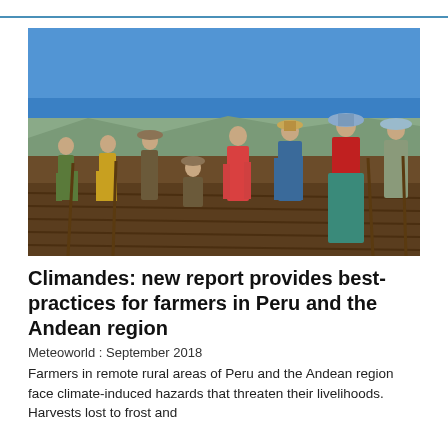[Figure (photo): Group of farmers standing in a plowed field in the Andean highlands. Several men with hats and tools, one woman in traditional red sweater and teal skirt. Deep blue sky in background, dry brown landscape.]
Climandes: new report provides best-practices for farmers in Peru and the Andean region
Meteoworld : September 2018
Farmers in remote rural areas of Peru and the Andean region face climate-induced hazards that threaten their livelihoods. Harvests lost to frost and